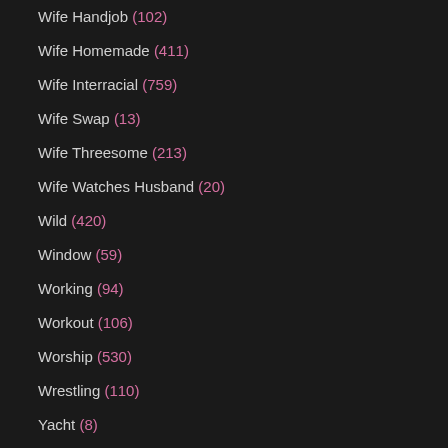Wife Handjob (102)
Wife Homemade (411)
Wife Interracial (759)
Wife Swap (13)
Wife Threesome (213)
Wife Watches Husband (20)
Wild (420)
Window (59)
Working (94)
Workout (106)
Worship (530)
Wrestling (110)
Yacht (8)
Yoga (325)
Yoga Pants (63)
Young (4793)